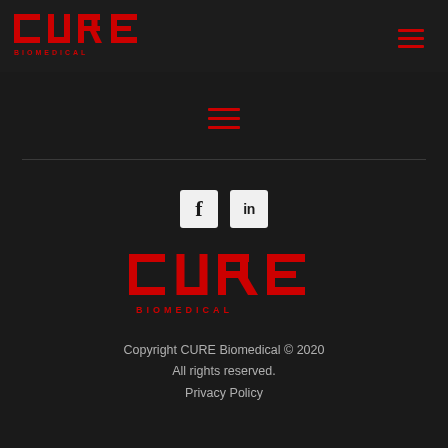[Figure (logo): CURE Biomedical logo in red, top left of header]
[Figure (other): Hamburger menu icon in red, top right of header]
[Figure (other): Hamburger menu icon in red, centered in page]
[Figure (other): Facebook and LinkedIn social media icons]
[Figure (logo): CURE Biomedical logo in red, centered in footer area]
Copyright CURE Biomedical © 2020
All rights reserved.
Privacy Policy